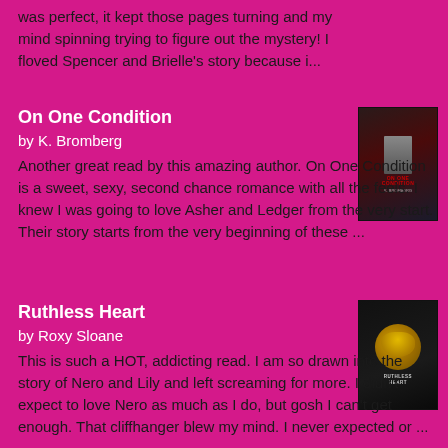was perfect, it kept those pages turning and my mind spinning trying to figure out the mystery! I floved Spencer and Brielle's story because i...
On One Condition
by K. Bromberg
[Figure (photo): Book cover for On One Condition by K. Bromberg showing a man in suit]
Another great read by this amazing author. On One Condition is a sweet, sexy, second chance romance with all the feels. I knew I was going to love Asher and Ledger from the very start. Their story starts from the very beginning of these ...
Ruthless Heart
by Roxy Sloane
[Figure (photo): Book cover for Ruthless Heart by Roxy Sloane showing a golden mask]
This is such a HOT, addicting read. I am so drawn into the story of Nero and Lily and left screaming for more. I didn't expect to love Nero as much as I do, but gosh I can't get enough. That cliffhanger blew my mind. I never expected or ...